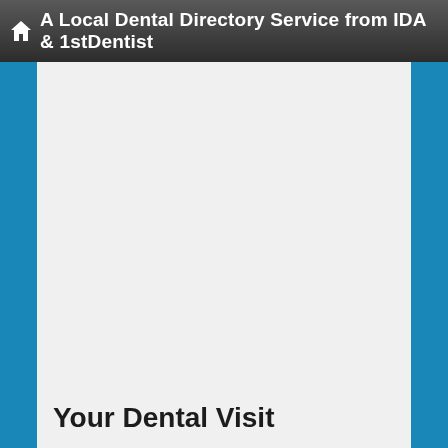A Local Dental Directory Service from IDA & 1stDentist
Your Dental Visit